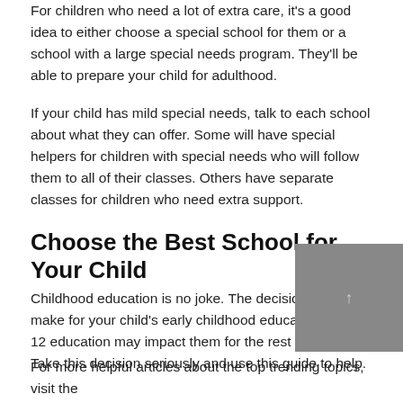For children who need a lot of extra care, it's a good idea to either choose a special school for them or a school with a large special needs program. They'll be able to prepare your child for adulthood.
If your child has mild special needs, talk to each school about what they can offer. Some will have special helpers for children with special needs who will follow them to all of their classes. Others have separate classes for children who need extra support.
Choose the Best School for Your Child
Childhood education is no joke. The decisions that you make for your child's early childhood education and K-12 education may impact them for the rest of their life. Take this decision seriously and use this guide to help.
[Figure (other): Gray rectangle with a small upward arrow icon, partially overlapping the text block]
For more helpful articles about the top trending topics, visit the